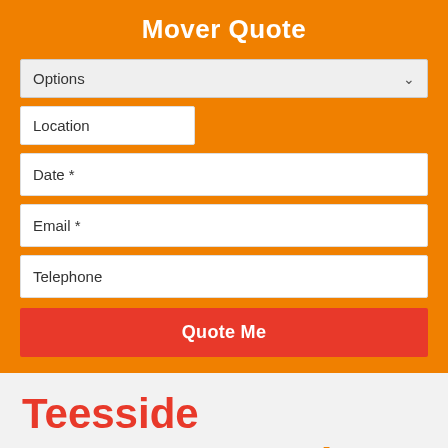Mover Quote
[Figure (screenshot): Web form with orange background containing: Options dropdown, Location text field, Date * text field, Email * text field, Telephone text field, and a red Quote Me button]
Teesside
Focus Removals